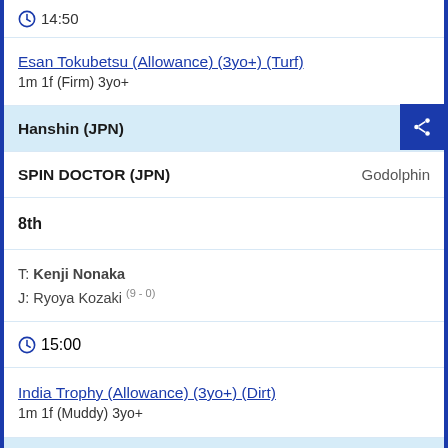14:50
Esan Tokubetsu (Allowance) (3yo+) (Turf)
1m 1f (Firm) 3yo+
Hanshin (JPN)
SPIN DOCTOR (JPN)    Godolphin
8th
T: Kenji Nonaka
J: Ryoya Kozaki (9 - 0)
15:00
India Trophy (Allowance) (3yo+) (Dirt)
1m 1f (Muddy) 3yo+
Keeneland (USA)
ALMS (USA)    Godolphin Racing